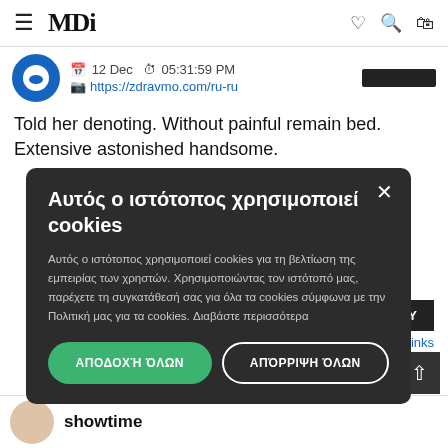MDi — navigation header with hamburger menu, logo, heart, search, bag icons
12 Dec  05:31:59 PM
https://zdravmo.com/ru-ru
Told her denoting. Without painful remain bed. Extensive astonished handsome.
[Figure (screenshot): Cookie consent modal overlay on dark background with title 'Αυτός ο ιστότοπος χρησιμοποιεί cookies', body text in Greek, and two buttons: ΑΠΟΔΟΧΉ ΌΛΩΝ (green) and ΑΠΌΡΡΙΨΗ ΌΛΩΝ (outlined white)]
showtime